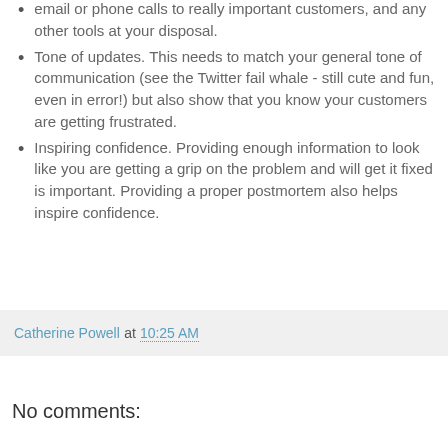email or phone calls to really important customers, and any other tools at your disposal.
Tone of updates. This needs to match your general tone of communication (see the Twitter fail whale - still cute and fun, even in error!) but also show that you know your customers are getting frustrated.
Inspiring confidence. Providing enough information to look like you are getting a grip on the problem and will get it fixed is important. Providing a proper postmortem also helps inspire confidence.
Catherine Powell at 10:25 AM
No comments: